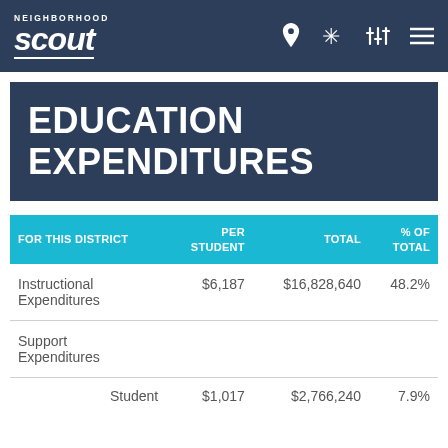Neighborhood Scout
EDUCATION EXPENDITURES
| FOR THIS DISTRICT | PER STUDENT | TOTAL | % OF TOTAL |
| --- | --- | --- | --- |
| Instructional Expenditures | $6,187 | $16,828,640 | 48.2% |
| Support Expenditures |  |  |  |
| Student | $1,017 | $2,766,240 | 7.9% |